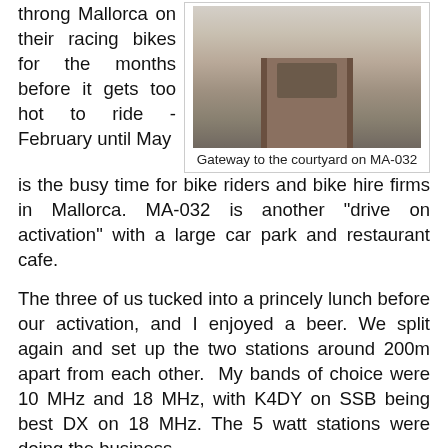throng Mallorca on their racing bikes for the months before it gets too hot to ride - February until May is the busy time for bike riders and bike hire firms in Mallorca. MA-032 is another "drive on activation" with a large car park and restaurant cafe.
[Figure (photo): Gateway to the courtyard on MA-032 - stone gateway with planter and trees]
Gateway to the courtyard on MA-032
The three of us tucked into a princely lunch before our activation, and I enjoyed a beer. We split again and set up the two stations around 200m apart from each other.  My bands of choice were 10 MHz and 18 MHz, with K4DY on SSB being best DX on 18 MHz. The 5 watt stations were doing the business...
[Figure (photo): Outdoor scene with antenna mast and green trees/vegetation]